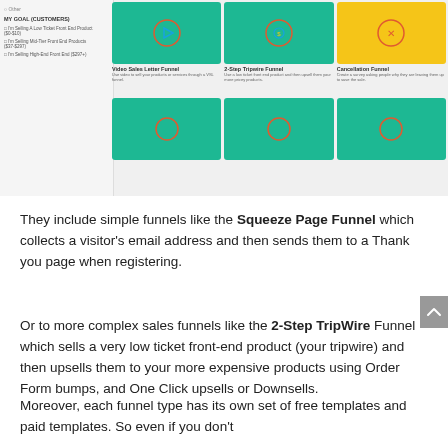[Figure (screenshot): Screenshot of a funnel selection UI showing funnel type cards including Video Sales Letter Funnel, 2-Step Tripwire Funnel, Cancellation Funnel in green and yellow tiles with icons, and a left sidebar with goal/customer options]
They include simple funnels like the Squeeze Page Funnel which collects a visitor's email address and then sends them to a Thank you page when registering.
Or to more complex sales funnels like the 2-Step TripWire Funnel which sells a very low ticket front-end product (your tripwire) and then upsells them to your more expensive products using Order Form bumps, and One Click upsells or Downsells.
Moreover, each funnel type has its own set of free templates and paid templates. So even if you don't